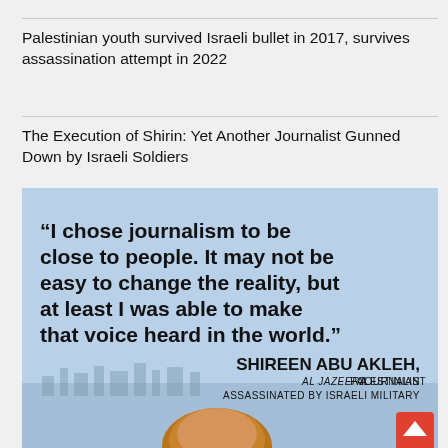Palestinian youth survived Israeli bullet in 2017, survives assassination attempt in 2022
The Execution of Shirin: Yet Another Journalist Gunned Down by Israeli Soldiers
[Figure (photo): Infographic image with quote from Shireen Abu Akleh: "I chose journalism to be close to people. It may not be easy to change the reality, but at least I was able to make that voice heard in the world." Attribution: SHIREEN ABU AKLEH, PALESTINIAN AL JAZEERA JOURNALIST ASSASSINATED BY ISRAELI MILITARY. Background shows a light blue sky with a city skyline and a photo of a woman with auburn hair.]